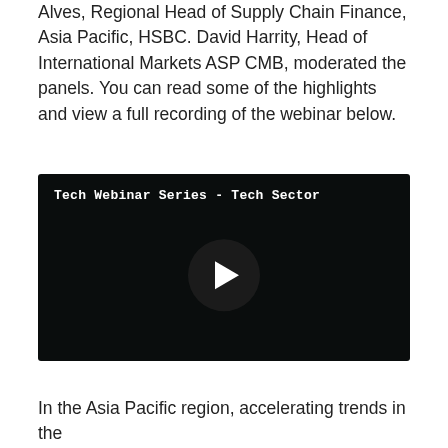Alves, Regional Head of Supply Chain Finance, Asia Pacific, HSBC. David Harrity, Head of International Markets ASP CMB, moderated the panels. You can read some of the highlights and view a full recording of the webinar below.
[Figure (screenshot): Video player screenshot with dark background showing 'Tech Webinar Series - Tech Sector' title in white monospace text at top left, and a circular play button in the center.]
In the Asia Pacific region, accelerating trends in the